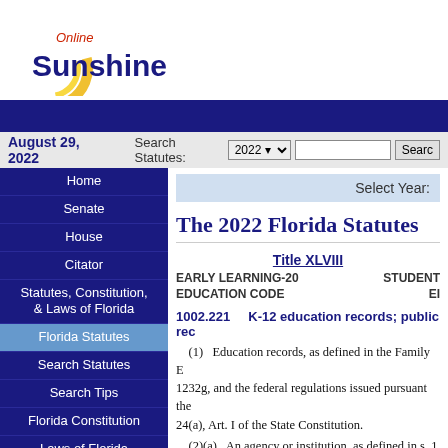[Figure (logo): Online Sunshine logo with arc graphic and dark blue 'Sunshine' text]
August 29, 2022   Search Statutes: 2022 [dropdown] [search box] Search
Home
Senate
House
Citator
Statutes, Constitution, & Laws of Florida
Florida Statutes
Search Statutes
Search Tips
Florida Constitution
Laws of Florida
Legislative & Executive Branch Lobbyists
Information Center
Joint Legislative Committees & Other Entities
Historical Committees
Florida Government Efficiency Task Force
Legislative Employment
Legistore
The 2022 Florida Statutes
Title XLVIII
EARLY LEARNING-20 EDUCATION CODE
1002.221   K-12 education records; public records exemption.
(1)   Education records, as defined in the Family Educational Rights and Privacy Act, 20 U.S.C. s. 1232g, and the federal regulations issued pursuant thereto, are confidential and exempt from s. 119.07(1) and s. 24(a), Art. I of the State Constitution.
(2)(a)   An agency or institution, as defined in s. 1002.22(1), shall not release education records without the written consent of the student or parent to a third party, except as specifically allowed in accordance with and as permitted by the FERPA.
(b)   Education records released by an agency or institution to the Auditor General or the Office of Program Policy Analysis and Government Accountability